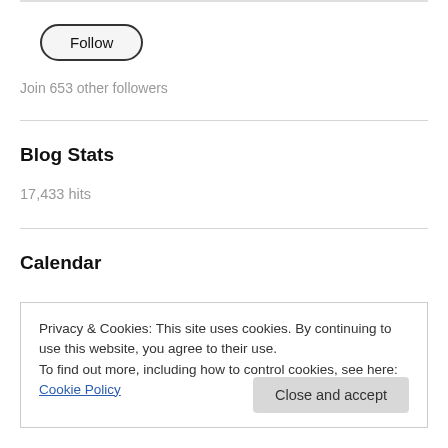[Figure (other): Follow button — rounded pill-shaped button with border and label 'Follow']
Join 653 other followers
Blog Stats
17,433 hits
Calendar
Privacy & Cookies: This site uses cookies. By continuing to use this website, you agree to their use.
To find out more, including how to control cookies, see here: Cookie Policy
Close and accept